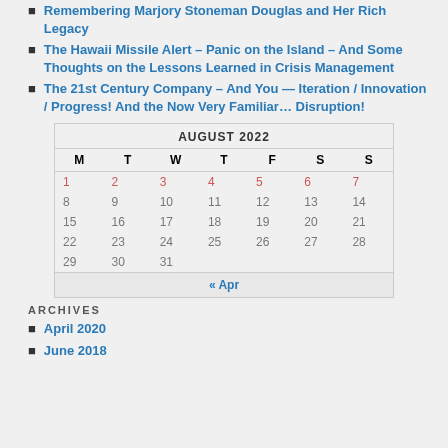Remembering Marjory Stoneman Douglas and Her Rich Legacy
The Hawaii Missile Alert – Panic on the Island – And Some Thoughts on the Lessons Learned in Crisis Management
The 21st Century Company – And You — Iteration / Innovation / Progress! And the Now Very Familiar… Disruption!
| M | T | W | T | F | S | S |
| --- | --- | --- | --- | --- | --- | --- |
| 1 | 2 | 3 | 4 | 5 | 6 | 7 |
| 8 | 9 | 10 | 11 | 12 | 13 | 14 |
| 15 | 16 | 17 | 18 | 19 | 20 | 21 |
| 22 | 23 | 24 | 25 | 26 | 27 | 28 |
| 29 | 30 | 31 |  |  |  |  |
ARCHIVES
April 2020
June 2018